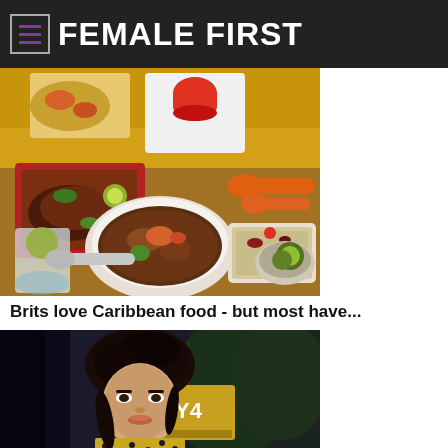FEMALE FIRST
[Figure (photo): Caribbean food spread on a table with various dishes including rice and beans, a bowl of stew, grilled meat, red peppers and sauces on colorful yellow background with orange spoons]
Brits love Caribbean food - but most have...
[Figure (photo): Woman with dark hair pulled up, wearing a patterned blouse, at an event with Y4 signage visible in background]